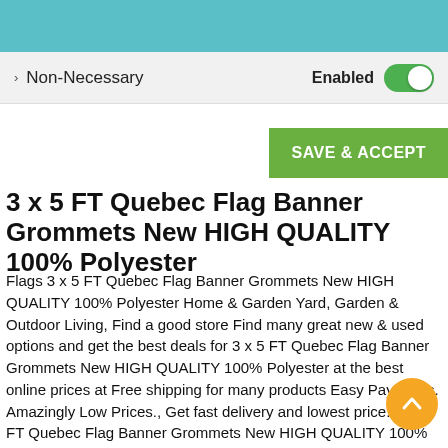Non-Necessary   Enabled
SAVE & ACCEPT
3 x 5 FT Quebec Flag Banner Grommets New HIGH QUALITY 100% Polyester
Flags 3 x 5 FT Quebec Flag Banner Grommets New HIGH QUALITY 100% Polyester Home & Garden Yard, Garden & Outdoor Living, Find a good store Find many great new & used options and get the best deals for 3 x 5 FT Quebec Flag Banner Grommets New HIGH QUALITY 100% Polyester at the best online prices at Free shipping for many products Easy Payments. Amazingly Low Prices., Get fast delivery and lowest price. 3 x 5 FT Quebec Flag Banner Grommets New HIGH QUALITY 100% Polyester Commodity shopping platform, 3 x 5 FT Quebec Flag Banner Grommets New HIGH QUALITY 100% Polyester satisfaction guaranteed We offer a Satisfaction Guarantee at its best..